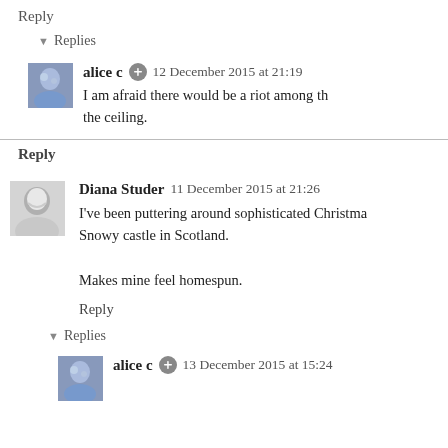Reply
▾ Replies
alice c  12 December 2015 at 21:19
I am afraid there would be a riot among th the ceiling.
Reply
Diana Studer  11 December 2015 at 21:26
I've been puttering around sophisticated Christma Snowy castle in Scotland.

Makes mine feel homespun.
Reply
▾ Replies
alice c  13 December 2015 at 15:24